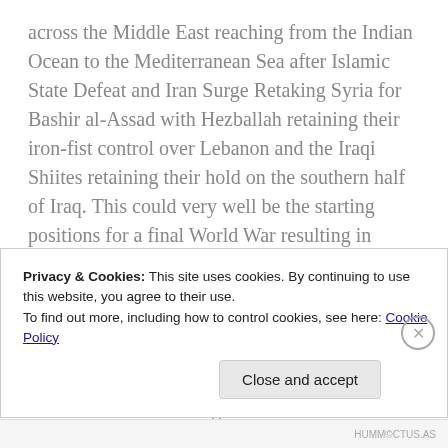across the Middle East reaching from the Indian Ocean to the Mediterranean Sea after Islamic State Defeat and Iran Surge Retaking Syria for Bashir al-Assad with Hezballah retaining their iron-fist control over Lebanon and the Iraqi Shiites retaining their hold on the southern half of Iraq. This could very well be the starting positions for a final World War resulting in exchanges of nuclear weapons before the end is reached. This map also depicts the areas bordering the Iranian influence which could become the future red lines and the trip wire for a horrific conflagration, exactly what the Twelvers desire to bring back the Twelfth Imam and the
Privacy & Cookies: This site uses cookies. By continuing to use this website, you agree to their use.
To find out more, including how to control cookies, see here: Cookie Policy
Close and accept
HUMM©CTUS.AS